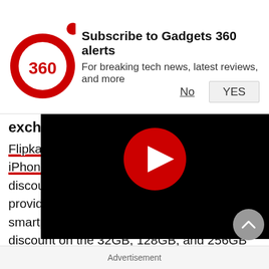[Figure (logo): Gadgets 360 red circle logo with '360' text]
Subscribe to Gadgets 360 alerts
For breaking tech news, latest reviews, and more
No  YES
exchange offers on Flipkart
Flipkart is running a special promotion for iPhone 7 and iPhone 7 Plus, under which flat discounts and exchange offers are being provided on several variants of the two Apple smartphones. Buyers get a flat 5 percent discount on the 32GB, 128GB, and 256GB iPhone 7 and iPhone 7 Plus variants, along with an additional discount if they make the purchase with a Buzz credit card. In addition to this, exchange offers of up to Rs. 25,100 are being provided across the range.
[Figure (screenshot): Video player overlay with black background and red play button]
Advertisement